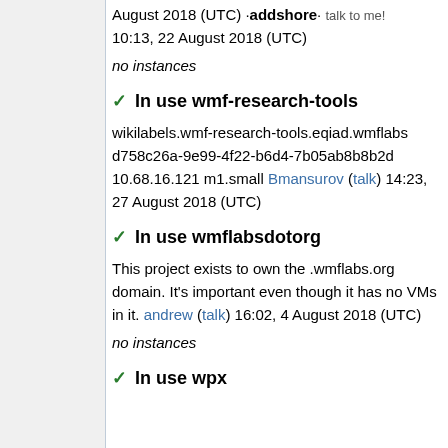August 2018 (UTC) ·addshore· talk to me! 10:13, 22 August 2018 (UTC)
no instances
✓ In use wmf-research-tools
wikilabels.wmf-research-tools.eqiad.wmflabs d758c26a-9e99-4f22-b6d4-7b05ab8b8b2d 10.68.16.121 m1.small Bmansurov (talk) 14:23, 27 August 2018 (UTC)
✓ In use wmflabsdotorg
This project exists to own the .wmflabs.org domain. It's important even though it has no VMs in it. andrew (talk) 16:02, 4 August 2018 (UTC)
no instances
✓ In use wpx